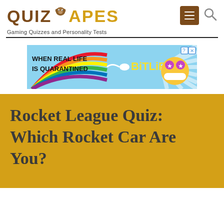Quiz Apes — Gaming Quizzes and Personality Tests
[Figure (screenshot): Advertisement banner for BitLife game showing rainbow background and text 'WHEN REAL LIFE IS QUARANTINED' with BitLife logo and emoji face]
Rocket League Quiz: Which Rocket Car Are You?